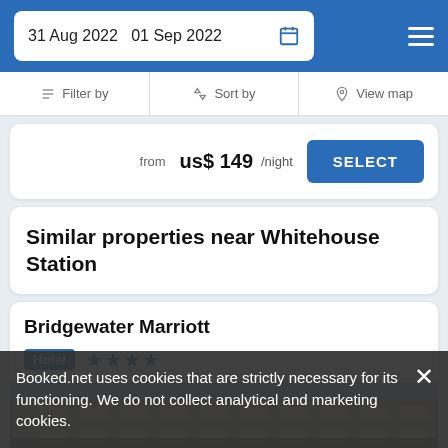31 Aug 2022   01 Sep 2022
Filter by   Sort by   View map
from us$ 149/night
Similar properties near Whitehouse Station
Bridgewater Marriott
Hotel ★★★★
[Figure (photo): Exterior photo of Bridgewater Marriott hotel building]
Booked.net uses cookies that are strictly necessary for its functioning. We do not collect analytical and marketing cookies.